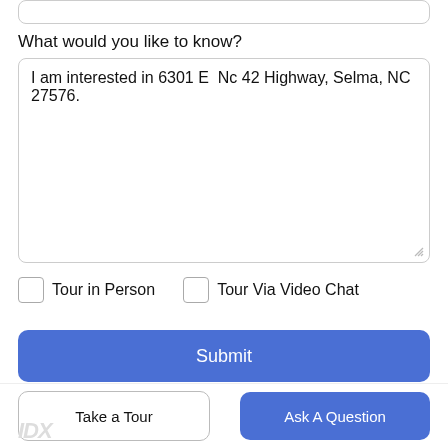What would you like to know?
I am interested in 6301 E  Nc 42 Highway, Selma, NC 27576.
Tour in Person
Tour Via Video Chat
Submit
Disclaimer: By entering your information and submitting this form, you agree to our Terms of Use and Privacy Policy and that you may be contacted by phone, text message and email about your inquiry.
Take a Tour
Ask A Question